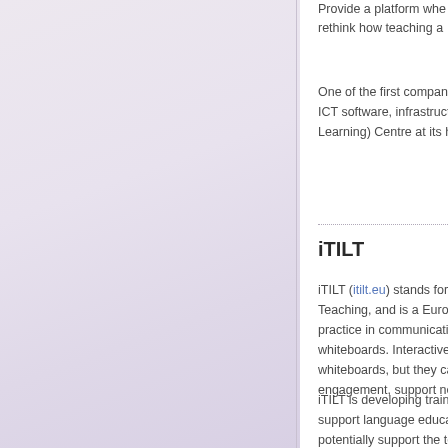Provide a platform whe rethink how teaching a
One of the first companie ICT software, infrastructu Learning) Centre at its he
iTILT
iTILT (itilt.eu) stands for In Teaching, and is a Europe practice in communicative whiteboards. Interactive w whiteboards, but they can engagement, support new
iTILT is developing trainin support language educati potentially support the tea scenarios using these tec project will feed into the i collaboration on the piloti